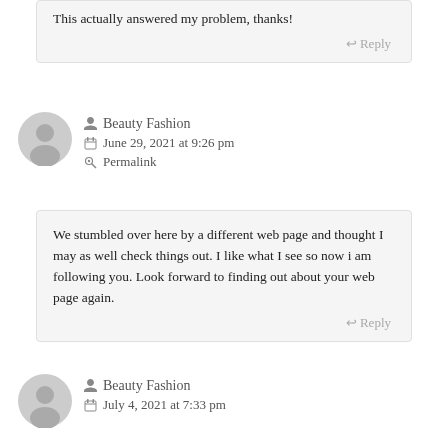This actually answered my problem, thanks!
Reply
Beauty Fashion
June 29, 2021 at 9:26 pm
Permalink
We stumbled over here by a different web page and thought I may as well check things out. I like what I see so now i am following you. Look forward to finding out about your web page again.
Reply
Beauty Fashion
July 4, 2021 at 7:33 pm